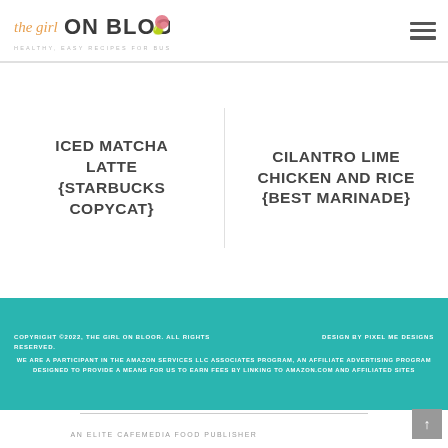the girl ON BLOOR — HEALTHY, EASY RECIPES FOR BUSY PEOPLE!
ICED MATCHA LATTE {STARBUCKS COPYCAT}
CILANTRO LIME CHICKEN AND RICE {BEST MARINADE}
COPYRIGHT ©2022, THE GIRL ON BLOOR. ALL RIGHTS RESERVED. DESIGN BY PIXEL ME DESIGNS WE ARE A PARTICIPANT IN THE AMAZON SERVICES LLC ASSOCIATES PROGRAM, AN AFFILIATE ADVERTISING PROGRAM DESIGNED TO PROVIDE A MEANS FOR US TO EARN FEES BY LINKING TO AMAZON.COM AND AFFILIATED SITES
AN ELITE CAFEMEDIA FOOD PUBLISHER